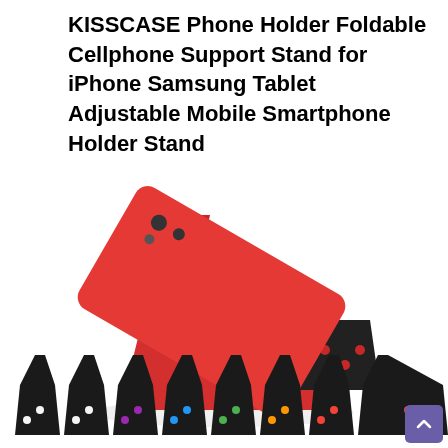KISSCASE Phone Holder Foldable Cellphone Support Stand for iPhone Samsung Tablet Adjustable Mobile Smartphone Holder Stand
[Figure (photo): A red foldable phone holder stand supporting a red iPhone at an angle, with eight black foldable stands shown in a row below, each with different colored accent dots (white, white, purple, blue, green, orange, red).]